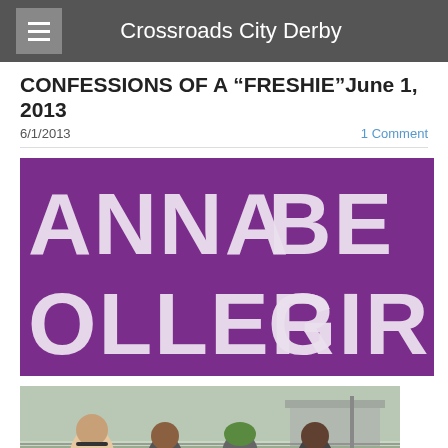Crossroads City Derby
CONFESSIONS OF A “FRESHIE”June 1, 2013
6/1/2013
1 Comment
[Figure (photo): Purple banner image with white distressed text reading 'ANNA BE A ROLLER GIR' (cropped roller derby promotional image)]
[Figure (photo): Outdoor photo of roller derby participants wearing helmets, standing near a fence with a building in the background]